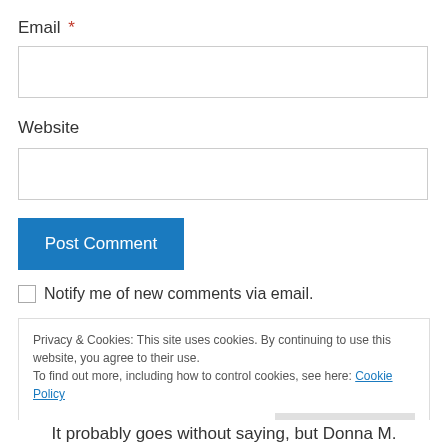Email *
[Figure (other): Empty email input field]
Website
[Figure (other): Empty website input field]
Post Comment
Notify me of new comments via email.
Privacy & Cookies: This site uses cookies. By continuing to use this website, you agree to their use. To find out more, including how to control cookies, see here: Cookie Policy
Close and accept
It probably goes without saying, but Donna M.